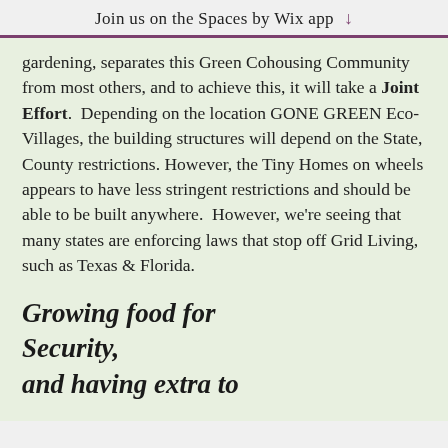Join us on the Spaces by Wix app ↓
gardening, separates this Green Cohousing Community from most others, and to achieve this, it will take a Joint Effort.  Depending on the location GONE GREEN Eco-Villages, the building structures will depend on the State, County restrictions. However, the Tiny Homes on wheels appears to have less stringent restrictions and should be able to be built anywhere.  However, we're seeing that many states are enforcing laws that stop off Grid Living, such as Texas & Florida.
Growing food for Security,
and having extra to